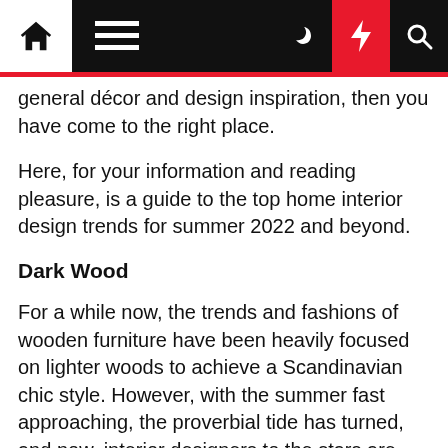[Navigation bar with home, menu, moon, bolt, search icons]
general décor and design inspiration, then you have come to the right place.
Here, for your information and reading pleasure, is a guide to the top home interior design trends for summer 2022 and beyond.
Dark Wood
For a while now, the trends and fashions of wooden furniture have been heavily focused on lighter woods to achieve a Scandinavian chic style. However, with the summer fast approaching, the proverbial tide has turned, and now, interior designers to the stars are loving darker woods and wood effects.
One stand-out and entirely natural darker wood is of